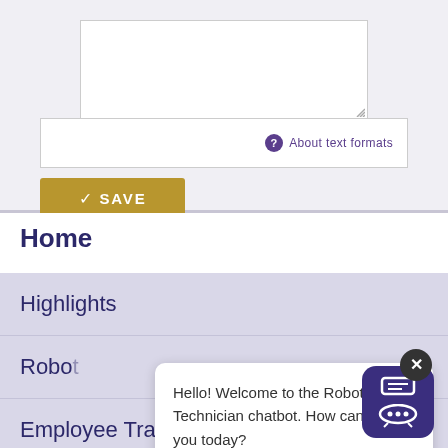[Figure (screenshot): A web form textarea with resize handle, a format bar with 'About text formats' link, and a gold Save button]
About text formats
SAVE
Home
Highlights
Robo...
Employee Training
News Blog
Hello! Welcome to the Robotics Technician chatbot. How can I help you today?